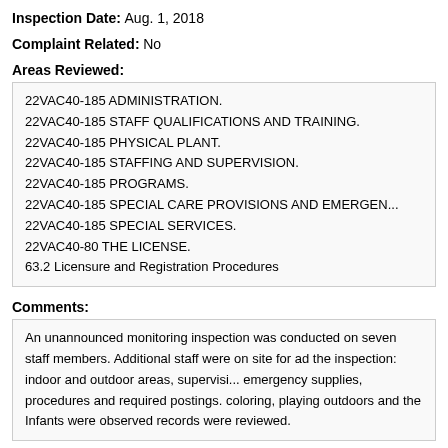Inspection Date: Aug. 1, 2018
Complaint Related: No
Areas Reviewed:
22VAC40-185 ADMINISTRATION.
22VAC40-185 STAFF QUALIFICATIONS AND TRAINING.
22VAC40-185 PHYSICAL PLANT.
22VAC40-185 STAFFING AND SUPERVISION.
22VAC40-185 PROGRAMS.
22VAC40-185 SPECIAL CARE PROVISIONS AND EMERGEN...
22VAC40-185 SPECIAL SERVICES.
22VAC40-80 THE LICENSE.
63.2 Licensure and Registration Procedures
Comments:
An unannounced monitoring inspection was conducted on seven staff members. Additional staff were on site for ad the inspection: indoor and outdoor areas, supervisi... emergency supplies, procedures and required postings. coloring, playing outdoors and the Infants were observed records were reviewed.
Violations: